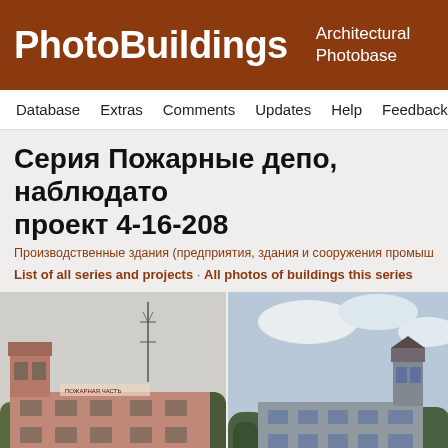PhotoBuildings — Architectural Photobase
Database · Extras · Comments · Updates · Help · Feedback
Серия Пожарные депо, наблюдато... проект 4-16-208
Производственные здания (предприятия, здания и сооружения промышл...
List of all series and projects · All photos of buildings this series
[Figure (photo): Pink brick fire station building with observation tower and radio mast, Soviet-era architecture]
[Figure (photo): Grey brick fire station building with observation tower, similar Soviet-era architecture, trees visible]